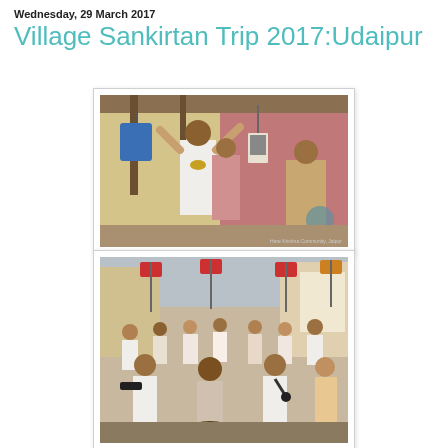Wednesday, 29 March 2017
Village Sankirtan Trip 2017:Udaipur
[Figure (photo): Group of devotees in white robes at a building, one man holding a blue bag raised high and another with arms raised, holding a portrait photo sign]
[Figure (photo): Procession of devotees in a street sankirtan, carrying flags and instruments, with people chanting and playing musical instruments]